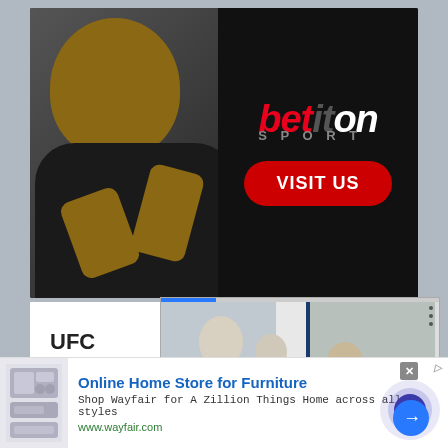[Figure (photo): Betiton Sport advertisement banner featuring a smiling Black man in a black shirt making a gesture, with the betiton SPORT logo in red and gray on dark background, and a red VISIT US button]
UFC
[Figure (screenshot): Video player overlay showing two UFC/MMA fighters training - left panel shows a kick, right panel shows ground fighting, with a blue progress bar at top, three dots menu, and a blue next arrow button]
[Figure (photo): Online advertisement for Wayfair - Online Home Store for Furniture, showing kitchen appliances image on left, with text 'Shop Wayfair for A Zillion Things Home across all styles' and URL www.wayfair.com, with a close X button and animated arrow button]